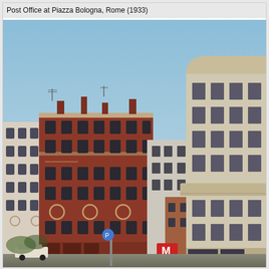Post Office at Piazza Bologna, Rome (1933)
[Figure (photo): Photograph of the Post Office at Piazza Bologna, Rome (1933). The image shows a street-level view with traditional red/terracotta Italian apartment buildings on the left with ornate facades, arched windows, and decorative details, and a modernist curved pale stone building (the post office) on the right with rectangular windows arranged in rows. A blue sky occupies the upper portion. At street level, a Metro sign (M) is visible near the post office entrance.]